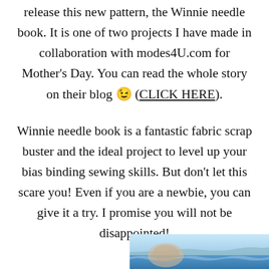release this new pattern, the Winnie needle book. It is one of two projects I have made in collaboration with modes4U.com for Mother's Day. You can read the whole story on their blog 😉 (CLICK HERE).
Winnie needle book is a fantastic fabric scrap buster and the ideal project to level up your bias binding sewing skills. But don't let this scare you! Even if you are a newbie, you can give it a try. I promise you will not be disappointed!
[Figure (photo): Partial photo at bottom right of page, appears to show a seaside or coastal scene with blue water and possibly a hand or object.]